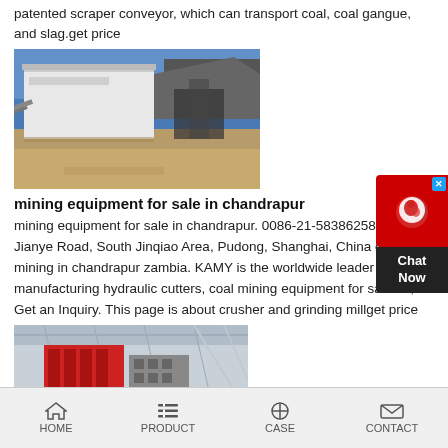patented scraper conveyor, which can transport coal, coal gangue, and slag.get price
[Figure (photo): Outdoor industrial facility with a large white warehouse building, conveyor structures, and rocky terrain under blue sky]
mining equipment for sale in chandrapur
mining equipment for sale in chandrapur. 0086-21-58386258 No Jianye Road, South Jinqiao Area, Pudong, Shanghai, China coal mining in chandrapur zambia. KAMY is the worldwide leader in manufacturing hydraulic cutters, coal mining equipment for sale uk; Get an Inquiry. This page is about crusher and grinding millget price
[Figure (photo): Industrial indoor facility showing large red and grey mining/crushing equipment with steel framework and skylights]
HOME   PRODUCT   CASE   CONTACT